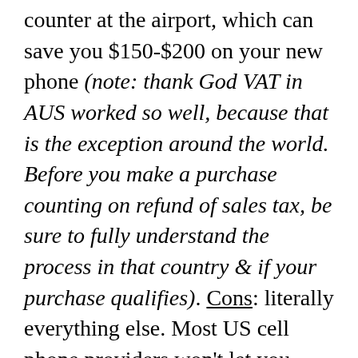counter at the airport, which can save you $150-$200 on your new phone (note: thank God VAT in AUS worked so well, because that is the exception around the world. Before you make a purchase counting on refund of sales tax, be sure to fully understand the process in that country & if your purchase qualifies). Cons: literally everything else. Most US cell phone providers won't let you activate your new phone while you're abroad, so say good-bye to your US number until you're back in the US again. Don't think that's a big deal? Think again. You have to say goodbye to EVERY APP that uses text confirmation, unless you want to download